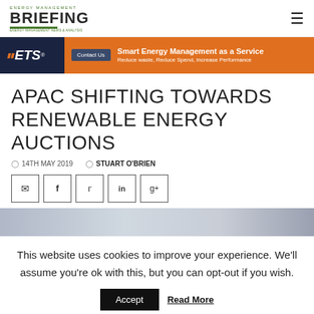ENERGY MANAGEMENT BRIEFING — Energy Management News & Analysis
[Figure (infographic): ETS advertisement banner — Smart Energy Management as a Service. Reduce waste, Reduce Spend, Increase Performance.]
APAC SHIFTING TOWARDS RENEWABLE ENERGY AUCTIONS
14TH MAY 2019   STUART O'BRIEN
[Figure (infographic): Social sharing buttons: email, Facebook, Twitter, LinkedIn, Google+]
[Figure (photo): Article header image strip — grey/blue tones]
This website uses cookies to improve your experience. We'll assume you're ok with this, but you can opt-out if you wish.
Accept   Read More